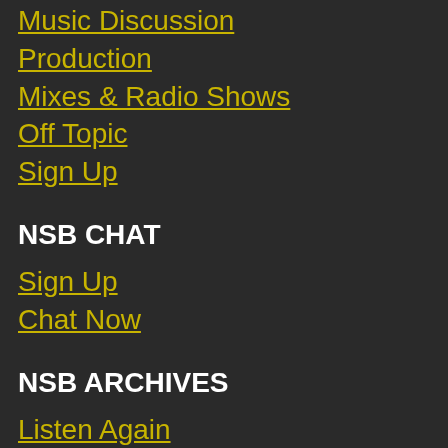Music Discussion
Production
Mixes & Radio Shows
Off Topic
Sign Up
NSB CHAT
Sign Up
Chat Now
NSB ARCHIVES
Listen Again
CONTACT
Facebook
Twitter